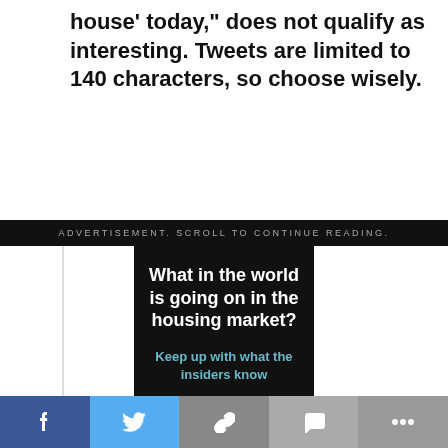house' today," does not qualify as interesting. Tweets are limited to 140 characters, so choose wisely.
ADVERTISEMENT. SCROLL TO CONTINUE READING.
[Figure (infographic): Advertisement banner with dark background showing text 'What in the world is going on in the housing market?' and subtitle 'Keep up with what the insiders know' with a 'JOIN US!' button]
[Figure (infographic): Social share bar with Facebook, Twitter, link, comment, and more buttons]